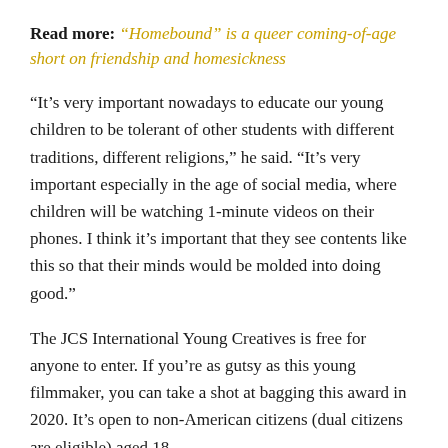Read more: “Homebound” is a queer coming-of-age short on friendship and homesickness
“It’s very important nowadays to educate our young children to be tolerant of other students with different traditions, different religions,” he said. “It’s very important especially in the age of social media, where children will be watching 1-minute videos on their phones. I think it’s important that they see contents like this so that their minds would be molded into doing good.”
The JCS International Young Creatives is free for anyone to enter. If you’re as gutsy as this young filmmaker, you can take a shot at bagging this award in 2020. It’s open to non-American citizens (dual citizens are eligible) aged 18